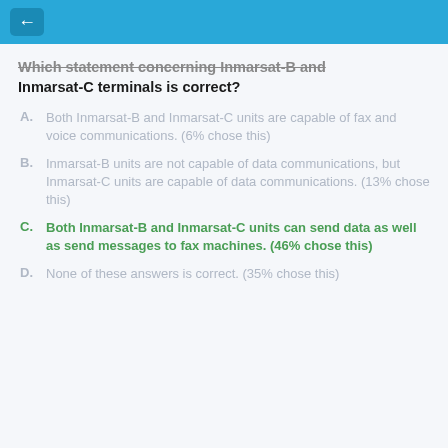Which statement concerning Inmarsat-B and Inmarsat-C terminals is correct?
A. Both Inmarsat-B and Inmarsat-C units are capable of fax and voice communications. (6% chose this)
B. Inmarsat-B units are not capable of data communications, but Inmarsat-C units are capable of data communications. (13% chose this)
C. Both Inmarsat-B and Inmarsat-C units can send data as well as send messages to fax machines. (46% chose this)
D. None of these answers is correct. (35% chose this)